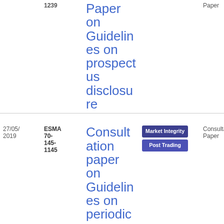| Date | Reference | Title | Tags | Type | File |
| --- | --- | --- | --- | --- | --- |
|  | 1239 | Paper on Guidelines on prospectus disclosure | Paper | 7.89 KB |  |
| 27/05/2019 | ESMA 70-145-1145 | Consultation paper on Guidelines on periodic | Market Integrity | Post Trading | Consultation Paper | PDF 54 5.53 KB |